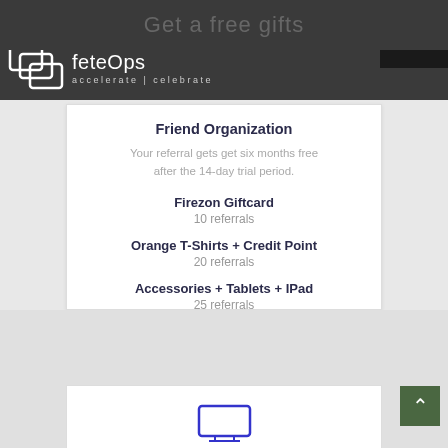Get a free gifts
[Figure (logo): feteOps logo with overlapping rectangles icon and text 'feteOps accelerate | celebrate']
Friend Organization
Your referral gets get six months free after the 14-day trial period.
Firezon Giftcard
10 referrals
Orange T-Shirts + Credit Point
20 referrals
Accessories + Tablets + IPad
25 referrals